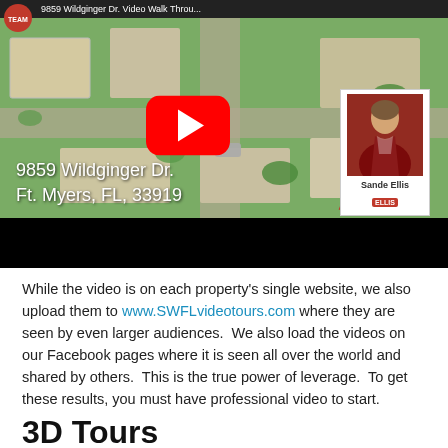[Figure (screenshot): YouTube video thumbnail showing aerial drone view of residential neighborhood at 9859 Wildginger Dr., Ft. Myers, FL 33919 with YouTube play button overlay and agent photo card for Sande Ellis]
While the video is on each property's single website, we also upload them to www.SWFLvideotours.com where they are seen by even larger audiences.  We also load the videos on our Facebook pages where it is seen all over the world and shared by others.  This is the true power of leverage.  To get these results, you must have professional video to start.
3D Tours